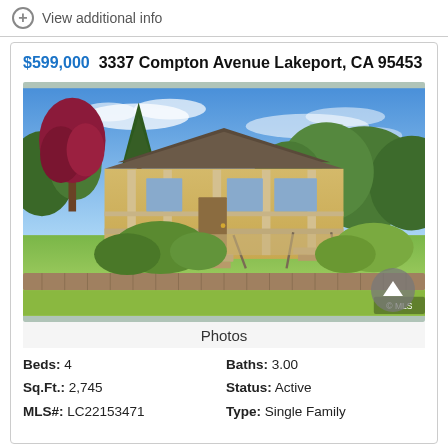View additional info
$599,000  3337 Compton Avenue Lakeport, CA 95453
[Figure (photo): Exterior photo of a single-family home at 3337 Compton Avenue, Lakeport CA. Yellow stucco ranch-style house with covered front porch, surrounded by lush green trees, red-leafed tree on left, manicured lawn with stone retaining wall in foreground, blue sky with wispy clouds.]
Photos
Beds: 4
Baths: 3.00
Sq.Ft.: 2,745
Status: Active
MLS#: LC22153471
Type: Single Family